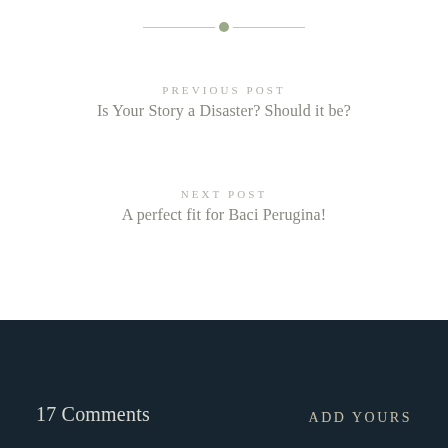[Figure (other): Horizontal divider with a small olive/sage green dot in the center, flanked by thin lines on each side]
PREVIOUS POST
Is Your Story a Disaster? Should it be?
NEXT POST
A perfect fit for Baci Perugina!
17 Comments
ADD YOURS